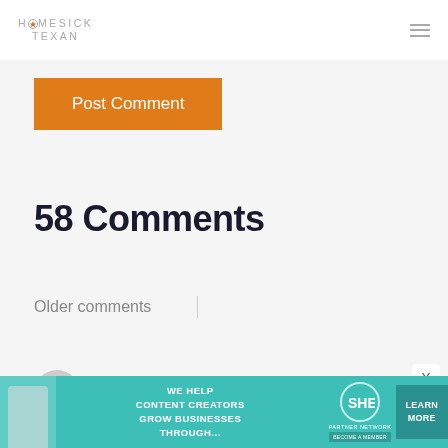HOMESICK TEXAN
Post Comment
58 Comments
Older comments
Cristine says:
[Figure (infographic): Advertisement banner: SHE Media Partner Network - We help content creators grow businesses through... Learn More. Become a member.]